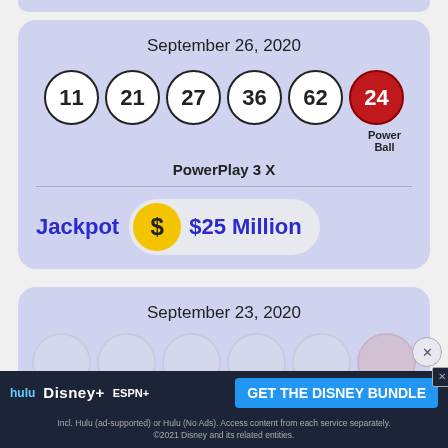September 26, 2020
[Figure (infographic): Powerball lottery numbers for September 26, 2020: white balls 11, 21, 27, 36, 62 and red Powerball 24. PowerPlay 3X. Jackpot $25 Million.]
September 23, 2020
[Figure (infographic): Hulu Disney+ ESPN+ advertisement: GET THE DISNEY BUNDLE]